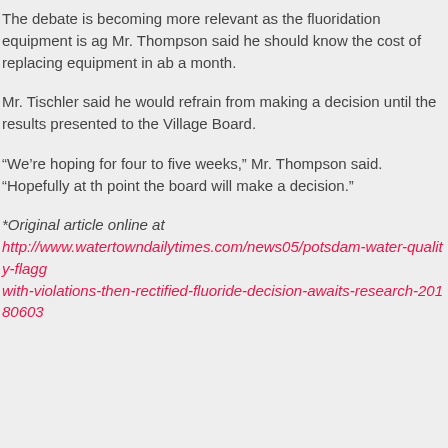The debate is becoming more relevant as the fluoridation equipment is ag Mr. Thompson said he should know the cost of replacing equipment in ab a month.
Mr. Tischler said he would refrain from making a decision until the results presented to the Village Board.
“We’re hoping for four to five weeks,” Mr. Thompson said. “Hopefully at th point the board will make a decision.”
*Original article online at http://www.watertowndailytimes.com/news05/potsdam-water-quality-flagg with-violations-then-rectified-fluoride-decision-awaits-research-20180603